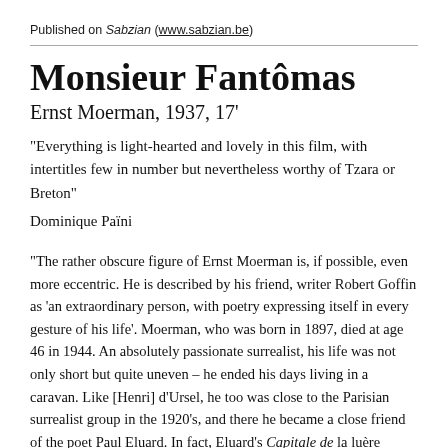Published on Sabzian (www.sabzian.be)
Monsieur Fantômas
Ernst Moerman, 1937, 17'
“Everything is light-hearted and lovely in this film, with intertitles few in number but nevertheless worthy of Tzara or Breton”
Dominique Païni
“The rather obscure figure of Ernst Moerman is, if possible, even more eccentric. He is described by his friend, writer Robert Goffin as ‘an extraordinary person, with poetry expressing itself in every gesture of his life’. Moerman, who was born in 1897, died at age 46 in 1944. An absolutely passionate surrealist, his life was not only short but quite uneven – he ended his days living in a caravan. Like [Henri] d’Ursel, he too was close to the Parisian surrealist group in the 1920’s, and there he became a close friend of the poet Paul Eluard. In fact, Eluard’s Capitale de la luère (1936) who they covered his best from Surrealist’s id the